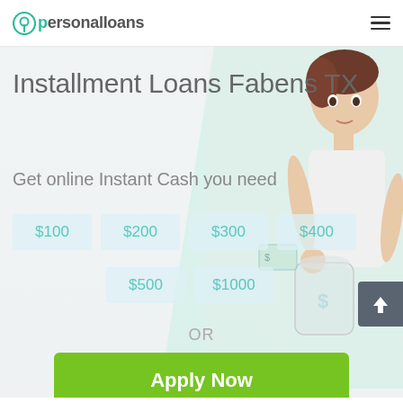personalloans
Installment Loans Fabens TX
Get online Instant Cash you need
$100
$200
$300
$400
$500
$1000
OR
Apply Now
Applying does NOT affect your credit score!
No credit check to apply.